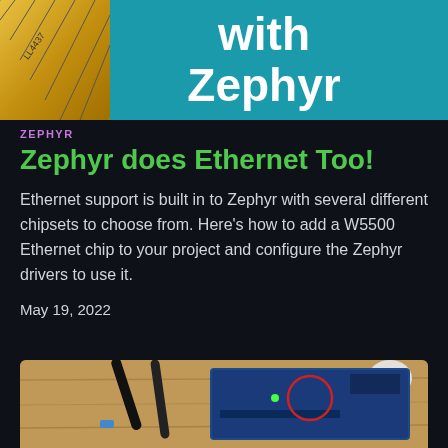[Figure (photo): Teal/cyan banner with large white bold text reading 'with Zephyr' and a measuring tape visible on the left side]
ZEPHYR
Zephyr does Ethernet Too!
Ethernet support is built in to Zephyr with several different chipsets to choose from. Here’s how to add a W5500 Ethernet chip to your project and configure the Zephyr drivers to use it.
May 19, 2022
[Figure (photo): Photo of a development board (blue PCB) with cables connected, placed on a wooden surface. A red circle annotation highlights part of the board.]